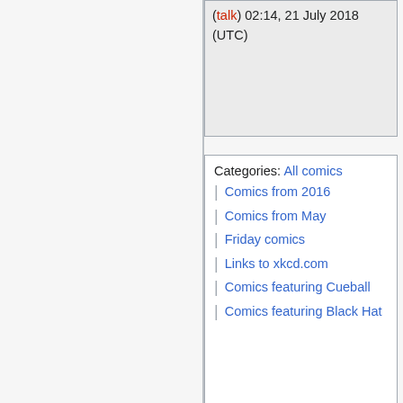(talk) 02:14, 21 July 2018 (UTC)
Categories:  All comics
| Comics from 2016
| Comics from May
| Friday comics
| Links to xkcd.com
| Comics featuring Cueball
| Comics featuring Black Hat
This page was last edited on 22 July 2022, at 00:11.
Privacy policy   About explain xkcd
Disclaimers
[Figure (logo): Powered by MediaWiki logo and Creative Commons BY-SA license badge]